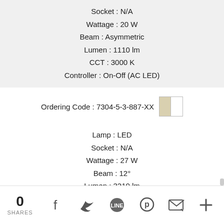Socket : N/A
Wattage : 20 W
Beam : Asymmetric
Lumen : 1110 lm
CCT : 3000 K
Controller : On-Off (AC LED)
Ordering Code : 7304-5-3-887-XX
Lamp : LED
Socket : N/A
Wattage : 27 W
Beam : 12°
Lumen : 3210 lm
CCT : 3000 K
0 SHARES